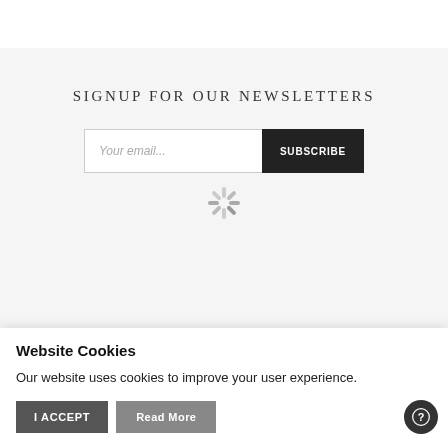SIGNUP FOR OUR NEWSLETTERS
[Figure (screenshot): Email signup form with 'Your email...' input field and dark 'SUBSCRIBE' button, plus a loading spinner icon below]
Website Cookies
Our website uses cookies to improve your user experience.
I ACCEPT
Read More